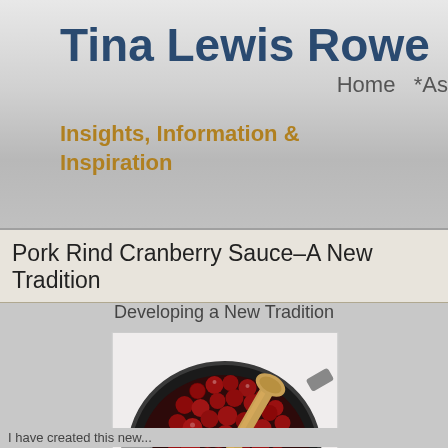Tina Lewis Rowe
Insights, Information & Inspiration
Pork Rind Cranberry Sauce–A New Tradition
Developing a New Tradition
[Figure (photo): A dark pan/skillet filled with cooked cranberries in a glossy dark red sauce, with a wooden spoon resting in the pan, viewed from above on a white surface.]
I have created this new...